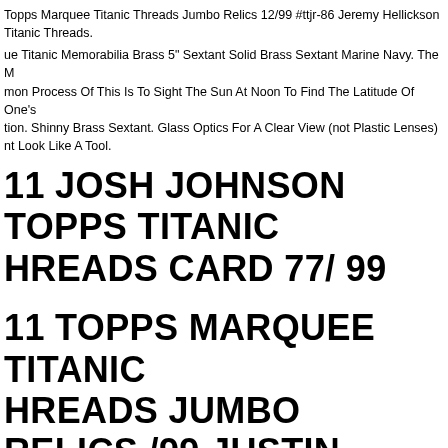Topps Marquee Titanic Threads Jumbo Relics 12/99 #ttjr-86 Jeremy Hellickson Titanic Threads.
ue Titanic Memorabilia Brass 5" Sextant Solid Brass Sextant Marine Navy. The M mon Process Of This Is To Sight The Sun At Noon To Find The Latitude Of One's tion. Shinny Brass Sextant. Glass Optics For A Clear View (not Plastic Lenses) nt Look Like A Tool.
11 JOSH JOHNSON TOPPS TITANIC HREADS CARD 77/ 99
11 TOPPS MARQUEE TITANIC HREADS JUMBO RELICS /99 JUSTIN ORNEAU #TTJR-98
98 Justin Morneau. - Featuringjustin Morneau. Qty Made 99. All Duties And Impo Will Be Paid At Checkout.